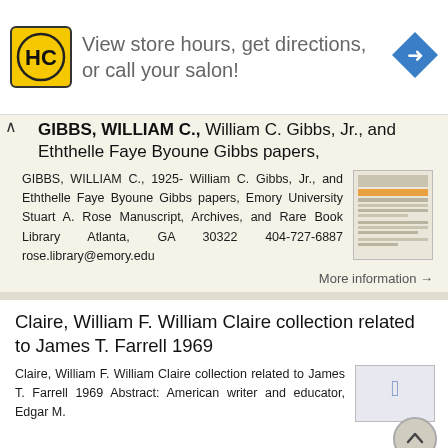[Figure (infographic): Advertisement banner for a hair salon service showing HC logo, text 'View store hours, get directions, or call your salon!' and a blue navigation arrow icon]
GIBBS, WILLIAM C., William C. Gibbs, Jr., and Eththelle Faye Byoune Gibbs papers,
GIBBS, WILLIAM C., 1925- William C. Gibbs, Jr., and Eththelle Faye Byoune Gibbs papers, Emory University Stuart A. Rose Manuscript, Archives, and Rare Book Library Atlanta, GA 30322 404-727-6887 rose.library@emory.edu
More information →
Claire, William F. William Claire collection related to James T. Farrell 1969
Claire, William F. William Claire collection related to James T. Farrell 1969 Abstract: American writer and educator, Edgar M.